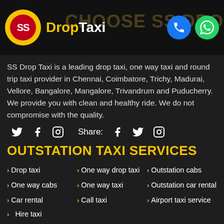[Figure (logo): SS Drop Taxi logo: yellow circle with red inner circle containing white 'SS' text, followed by brand name 'DropTaxi' in yellow and white]
SS Drop Taxi is a leading drop taxi, one way taxi and round trip taxi provider in Chennai, Coimbatore, Trichy, Madurai, Vellore, Bangalore, Mangalore, Trivandrum and Puducherry. We provide you with clean and healthy ride. We do not compromise with the quality.
[Figure (infographic): Social media icons: Twitter, Facebook, Instagram, Share: Facebook, Twitter, Instagram]
OUTSTATION TAXI SERVICES
Drop taxi
One way drop taxi
Outstation cabs
One way cabs
One way taxi
Outstation car rental
Car rental
Call taxi
Airport taxi service
Hire taxi
Outstation taxi
Tamilnadu call taxi